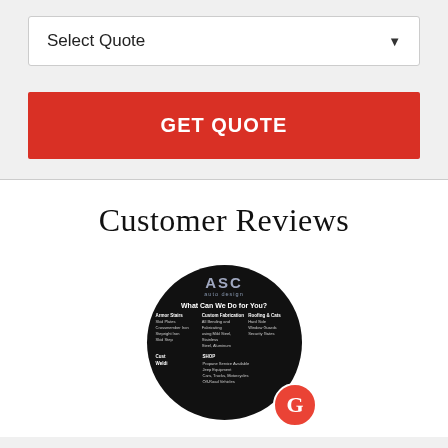Select Quote
GET QUOTE
Customer Reviews
[Figure (logo): ASC Auto Design circular logo on black background showing 'What Can We Do for You?' with service categories listed, overlaid with a Google 'G' badge in red circle.]